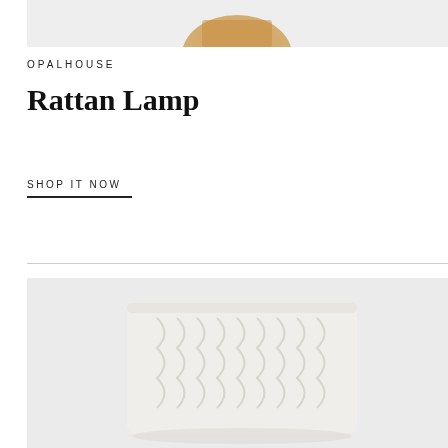[Figure (photo): Top portion of a rattan lamp product photo on light gray background]
OPALHOUSE
Rattan Lamp
SHOP IT NOW
[Figure (photo): Folded cream/white cable-knit blanket or throw on a light gray background]